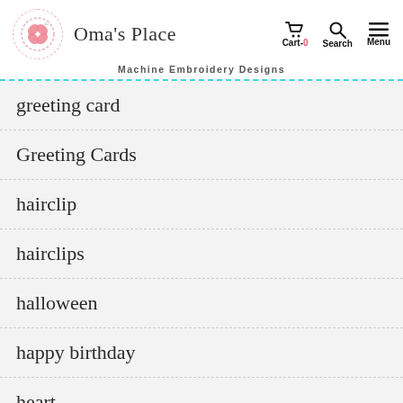Oma's Place — Machine Embroidery Designs — Cart-0 Search Menu
greeting card
Greeting Cards
hairclip
hairclips
halloween
happy birthday
heart
h…